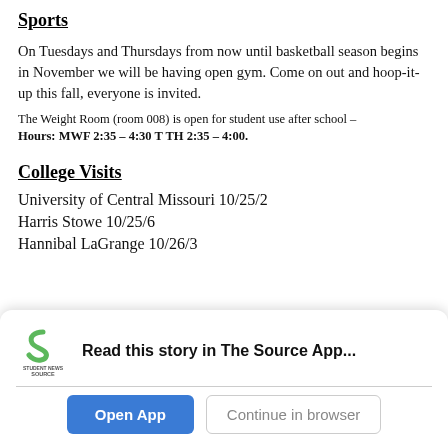Sports
On Tuesdays and Thursdays from now until basketball season begins in November we will be having open gym. Come on out and hoop-it-up this fall, everyone is invited.
The Weight Room (room 008) is open for student use after school –
Hours: MWF 2:35 – 4:30 T TH 2:35 – 4:00.
College Visits
University of Central Missouri 10/25/2
Harris Stowe 10/25/6
Hannibal LaGrange 10/26/3
Read this story in The Source App...
Open App
Continue in browser